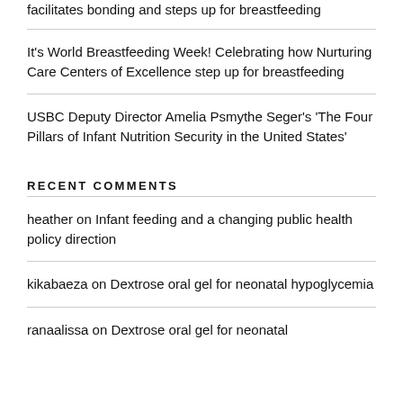facilitates bonding and steps up for breastfeeding
It's World Breastfeeding Week! Celebrating how Nurturing Care Centers of Excellence step up for breastfeeding
USBC Deputy Director Amelia Psmythe Seger's 'The Four Pillars of Infant Nutrition Security in the United States'
RECENT COMMENTS
heather on Infant feeding and a changing public health policy direction
kikabaeza on Dextrose oral gel for neonatal hypoglycemia
ranaalissa on Dextrose oral gel for neonatal